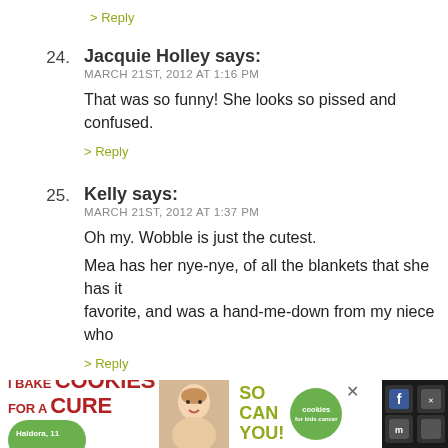> Reply
24. Jacquie Holley says:
MARCH 21ST, 2012 AT 1:16 PM
That was so funny! She looks so pissed and confused.
> Reply
25. Kelly says:
MARCH 21ST, 2012 AT 1:37 PM
Oh my. Wobble is just the cutest.
Mea has her nye-nye, of all the blankets that she has it favorite, and was a hand-me-down from my niece who
> Reply
26. Tami says:
MARCH 21ST, 2012 AT 2:43 PM
OH no!! I dont think your suppose to have a wobble eit sad. :.. I hope she for gives you.. (wink)!!
[Figure (infographic): Advertisement banner: I Bake COOKIES For A CURE with photo of girl and 'So can you!' text and cookies for kids cancer badge]